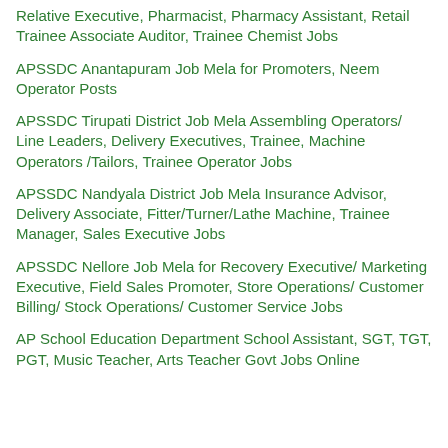Relative Executive, Pharmacist, Pharmacy Assistant, Retail Trainee Associate Auditor, Trainee Chemist Jobs
APSSDC Anantapuram Job Mela for Promoters, Neem Operator Posts
APSSDC Tirupati District Job Mela Assembling Operators/ Line Leaders, Delivery Executives, Trainee, Machine Operators /Tailors, Trainee Operator Jobs
APSSDC Nandyala District Job Mela Insurance Advisor, Delivery Associate, Fitter/Turner/Lathe Machine, Trainee Manager, Sales Executive Jobs
APSSDC Nellore Job Mela for Recovery Executive/ Marketing Executive, Field Sales Promoter, Store Operations/ Customer Billing/ Stock Operations/ Customer Service Jobs
AP School Education Department School Assistant, SGT, TGT, PGT, Music Teacher, Arts Teacher Govt Jobs Online